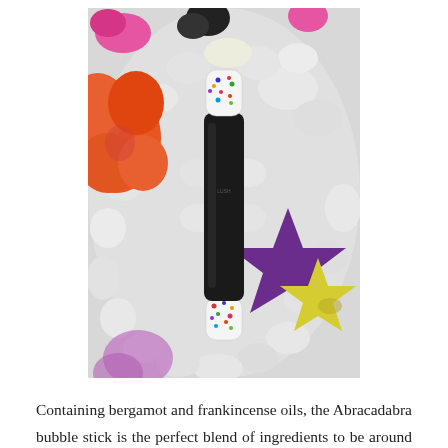[Figure (photo): Close-up photo of an Abracadabra bubble stick (black cylindrical stick with white ends decorated with colorful sprinkles) surrounded by colorful clay or foam shapes including an orange flower, a purple star with yellow star, pink and black shapes, all on a white pebble-like background.]
Containing bergamot and frankincense oils, the Abracadabra bubble stick is the perfect blend of ingredients to be around when you need to wind down and chill out. The frankincense offers a sweet yet gentle